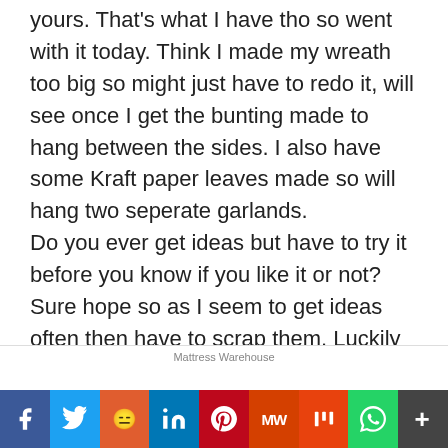yours. That's what I have tho so went with it today. Think I made my wreath too big so might just have to redo it, will see once I get the bunting made to hang between the sides. I also have some Kraft paper leaves made so will hang two seperate garlands.
Do you ever get ideas but have to try it before you know if you like it or not? Sure hope so as I seem to get ideas often then have to scrap them. Luckily can use the leaves for something else. I love to make things with Kraft paper.
[Figure (other): Mattress Warehouse advertisement banner]
[Figure (infographic): Social share bar with Facebook, Twitter, Reddit, LinkedIn, Pinterest, MW, Mix, WhatsApp, More buttons]